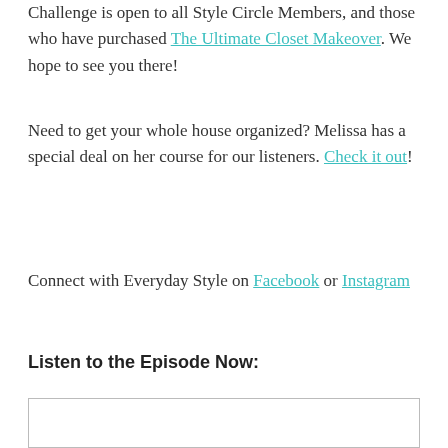Challenge is open to all Style Circle Members, and those who have purchased The Ultimate Closet Makeover. We hope to see you there!
Need to get your whole house organized? Melissa has a special deal on her course for our listeners. Check it out!
Connect with Everyday Style on Facebook or Instagram
Listen to the Episode Now:
[Figure (other): Embedded audio player box (empty/white rectangle with border)]